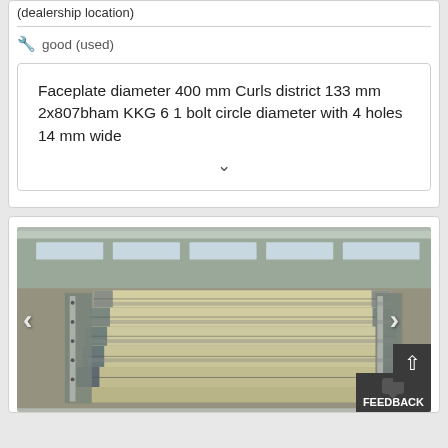(dealership location)
🔧 good (used)
Faceplate diameter 400 mm Curls district 133 mm 2x807bham KKG 6 1 bolt circle diameter with 4 holes 14 mm wide
[Figure (photo): Stack of metal scaffolding/racking frames with beige/cream horizontal beams and galvanized steel uprights, photographed outdoors on a brick paved surface in front of a building.]